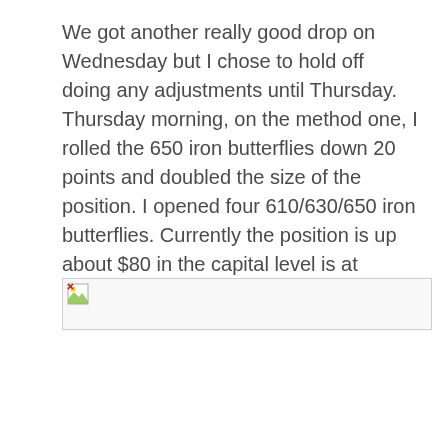We got another really good drop on Wednesday but I chose to hold off doing any adjustments until Thursday. Thursday morning, on the method one, I rolled the 650 iron butterflies down 20 points and doubled the size of the position. I opened four 610/630/650 iron butterflies. Currently the position is up about $80 in the capital level is at $1480. The position is shown below:
[Figure (other): Broken image placeholder representing a trading position diagram]